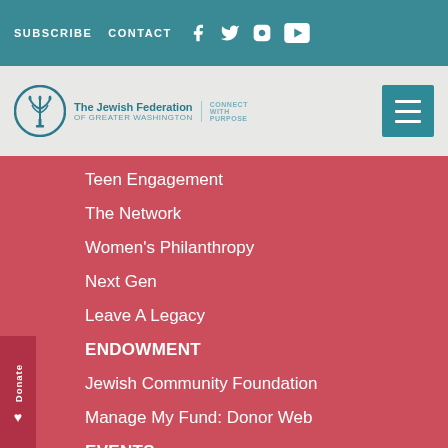SUBSCRIBE  CONTACT
[Figure (logo): The Jewish Federation of Greater Washington — Connect With Purpose logo with teal menorah icon]
Teen Engagement
The Network
Women's Philanthropy
Next Gen
Leave A Legacy
ENDOWMENT
Jewish Community Foundation
Manage My Fund: Donor Web
EVENTS
NEWS & UPDATES
News & Updates